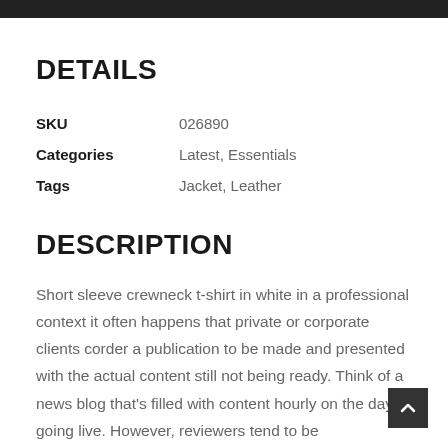DETAILS
| SKU | 026890 |
| Categories | Latest, Essentials |
| Tags | Jacket, Leather |
DESCRIPTION
Short sleeve crewneck t-shirt in white in a professional context it often happens that private or corporate clients corder a publication to be made and presented with the actual content still not being ready. Think of a news blog that's filled with content hourly on the day of going live. However, reviewers tend to be